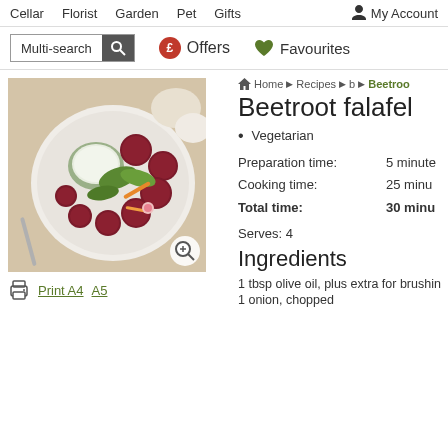Cellar  Florist  Garden  Pet  Gifts  My Account
Multi-search  £ Offers  ♥ Favourites
[Figure (photo): Plate of beetroot falafel balls with salad greens and a bowl of white dip/tzatziki sauce]
Print A4  A5
Home ▶ Recipes ▶ b ▶ Beetroo...
Beetroot falafel
Vegetarian
Preparation time: 5 minutes
Cooking time: 25 minutes
Total time: 30 minutes
Serves: 4
Ingredients
1 tbsp olive oil, plus extra for brushing
1 onion, chopped